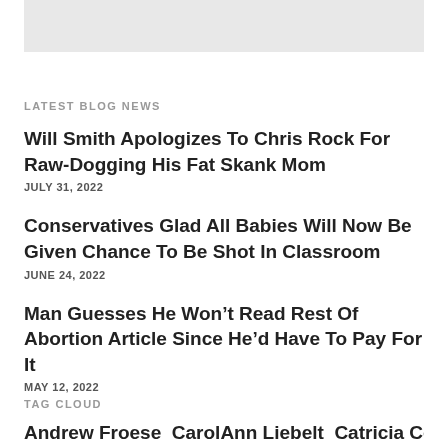[Figure (other): Gray placeholder image block at top of page]
LATEST BLOG NEWS
Will Smith Apologizes To Chris Rock For Raw-Dogging His Fat Skank Mom
JULY 31, 2022
Conservatives Glad All Babies Will Now Be Given Chance To Be Shot In Classroom
JUNE 24, 2022
Man Guesses He Won't Read Rest Of Abortion Article Since He'd Have To Pay For It
MAY 12, 2022
TAG CLOUD
Andrew Froese CarolAnn Liebelt Catricia Cover